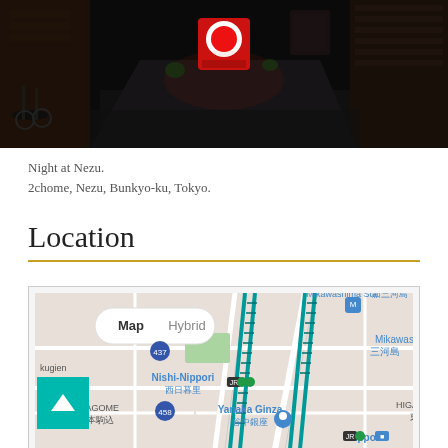[Figure (photo): Night photograph of a narrow alley in Nezu, Tokyo. Dark scene with a red illuminated sign visible in the background, parked bicycles on the left, traditional buildings on both sides.]
Night at Nezu.
2chome, Nezu, Bunkyo-ku, Tokyo.
Location
[Figure (map): Google Maps screenshot showing the area around Nezu, Bunkyo-ku, Tokyo. Visible landmarks include Nishi-Nippori (西日暮里), Mikawashima Station (新三河島), Yanaka Ginza (谷中銀座), Nippori, HIGASHINIPPO (東日暮里), OMAGOME (本駒込), road numbers 437, 458, 313. Map and Hybrid toggle buttons visible. A teal scroll-to-top arrow button overlaid on the lower left.]